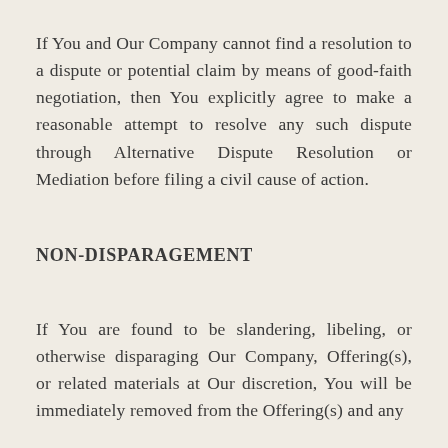If You and Our Company cannot find a resolution to a dispute or potential claim by means of good-faith negotiation, then You explicitly agree to make a reasonable attempt to resolve any such dispute through Alternative Dispute Resolution or Mediation before filing a civil cause of action.
NON-DISPARAGEMENT
If You are found to be slandering, libeling, or otherwise disparaging Our Company, Offering(s), or related materials at Our discretion, You will be immediately removed from the Offering(s) and any